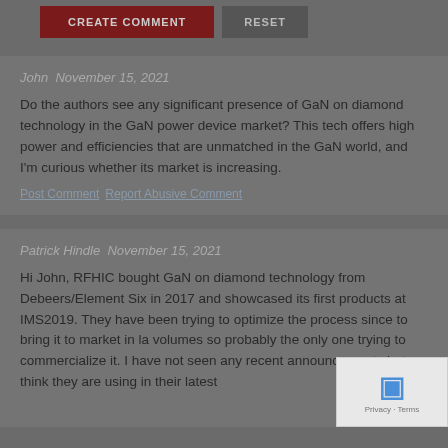[Figure (screenshot): CREATE COMMENT and RESET buttons on dark background]
John  November 15, 2021
Do the authors see any significant presence of GaN on diamond technology in the GaN power device market? This tech offers high power and efficiencies that are unmatched in the GaN world, and I'm curious whether its market is increasing.
Post Comment  Report Abusive Comment
Patrick Hindle  November 15, 2021
Hi John, RFHIC bought GaN on diamond technology from Debeers/Element Six in 2017 and showcased its first products at IMS2019. They have been trying to optimize the process since to bring it to market in la volumes so probably the only one trying to commercialize it. I have not seen any recent announcements but think they are using in their latest